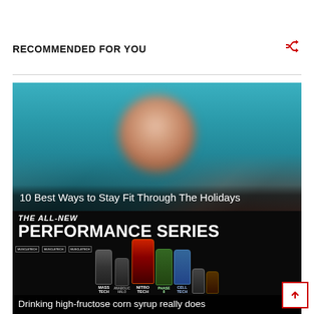RECOMMENDED FOR YOU
[Figure (photo): Blurred photo of a person's face with teal/blue background]
10 Best Ways to Stay Fit Through The Holidays
[Figure (photo): Advertisement image for MuscleTech The All-New Performance Series showing supplement bottles including Mass Tech, Anabolic Halo, Nitro Tech, Phase8, Cell Tech, and others on black background]
Drinking high-fructose corn syrup really does